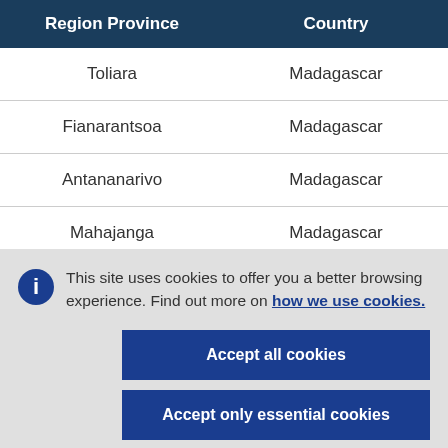| Region Province | Country |
| --- | --- |
| Toliara | Madagascar |
| Fianarantsoa | Madagascar |
| Antananarivo | Madagascar |
| Mahajanga | Madagascar |
This site uses cookies to offer you a better browsing experience. Find out more on how we use cookies.